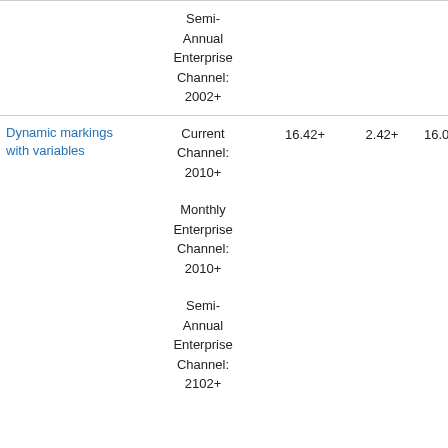| Feature | Minimum version | Column3 | Column4 | Column5 |
| --- | --- | --- | --- | --- |
|  | Semi-Annual Enterprise Channel: 2002+ |  |  |  |
| Dynamic markings with variables | Current Channel: 2010+

Monthly Enterprise Channel: 2010+

Semi-Annual Enterprise Channel: 2102+ | 16.42+ | 2.42+ | 16.0.13328+ |